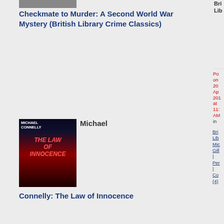[Figure (photo): Top portion of a book cover image, cut off at top]
Bri
Lib
Checkmate to Murder: A Second World War Mystery (British Library Crime Classics)
.......... Posted on 20 April 2019 at 11: AM in British Library | Michael Gillingham | Permalink | Comments (4)
[Figure (photo): Book cover: Michael Connelly - The Law of Innocence]
Michael
Connelly: The Law of Innocence
[Figure (logo): Green circular icon]
[Figure (logo): Blue crescent/C icon]
[Figure (logo): Pinterest P icon]
[Figure (logo): Goodreads icon]
[Figure (photo): Book cover: P. D. James - The Murder Room]
P. D. James: The Murder Room
Ra
at
Gr
[Figure (photo): Bottom book cover, partially visible, Glancy]
Glancy